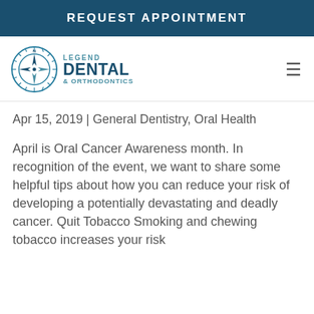REQUEST APPOINTMENT
[Figure (logo): Legend Dental & Orthodontics compass logo with text]
Apr 15, 2019 | General Dentistry, Oral Health
April is Oral Cancer Awareness month. In recognition of the event, we want to share some helpful tips about how you can reduce your risk of developing a potentially devastating and deadly cancer. Quit Tobacco Smoking and chewing tobacco increases your risk